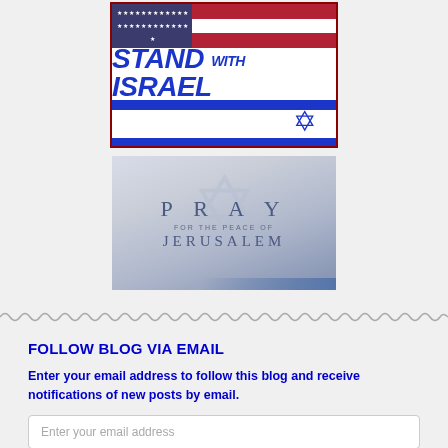[Figure (illustration): Stand with Israel banner combining US and Israeli flags with bold blue text 'STAND WITH ISRAEL']
[Figure (illustration): Pray for the Peace of Jerusalem image with Israeli flag background and Star of David watermark]
FOLLOW BLOG VIA EMAIL
Enter your email address to follow this blog and receive notifications of new posts by email.